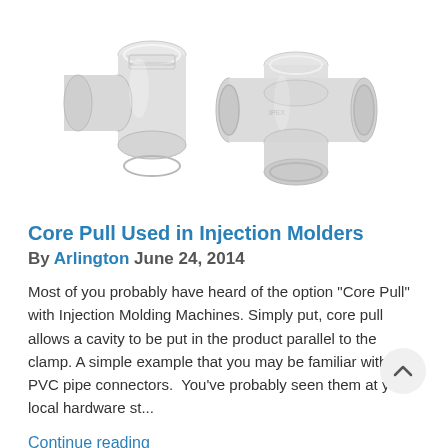[Figure (photo): Two white PVC pipe connector fittings (T-shaped/Y-shaped joints) on a white background]
Core Pull Used in Injection Molders
By Arlington June 24, 2014
Most of you probably have heard of the option “Core Pull” with Injection Molding Machines. Simply put, core pull allows a cavity to be put in the product parallel to the clamp. A simple example that you may be familiar with is PVC pipe connectors.  You’ve probably seen them at your local hardware st...
Continue reading
65MM Single Pressure Special Twin S...